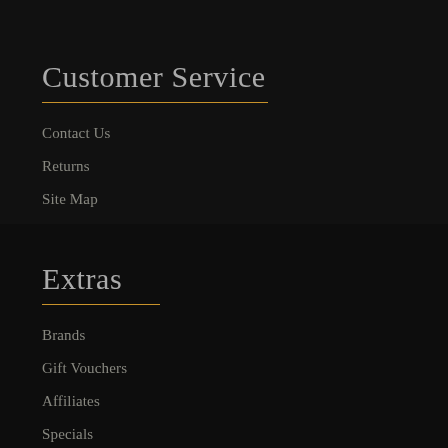Customer Service
Contact Us
Returns
Site Map
Extras
Brands
Gift Vouchers
Affiliates
Specials